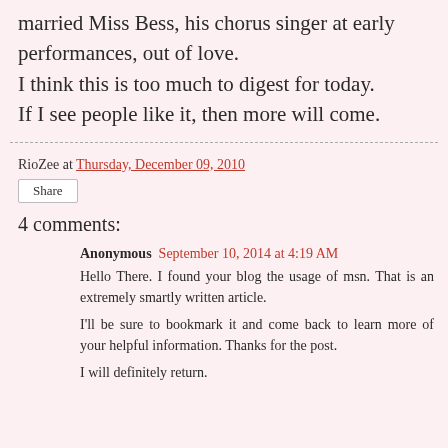married Miss Bess, his chorus singer at early performances, out of love.
I think this is too much to digest for today.
If I see people like it, then more will come.
RioZee at Thursday, December 09, 2010
Share
4 comments:
Anonymous September 10, 2014 at 4:19 AM
Hello There. I found your blog the usage of msn. That is an extremely smartly written article.
I'll be sure to bookmark it and come back to learn more of your helpful information. Thanks for the post.

I will definitely return.